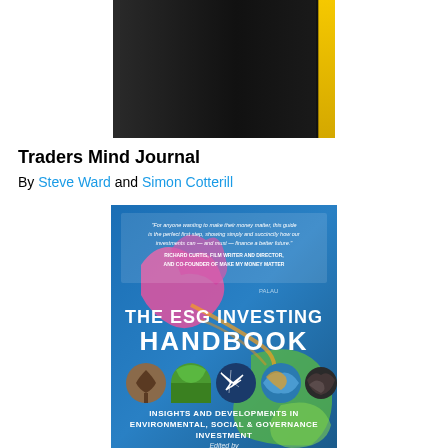[Figure (photo): Book cover of Traders Mind Journal - a dark/black notebook with a yellow spine stripe]
Traders Mind Journal
By Steve Ward and Simon Cotterill
[Figure (photo): Book cover of The ESG Investing Handbook - Insights and Developments in Environmental, Social & Governance Investment, edited by Becky O'Connor, with a colorful world map background and circular nature photos]